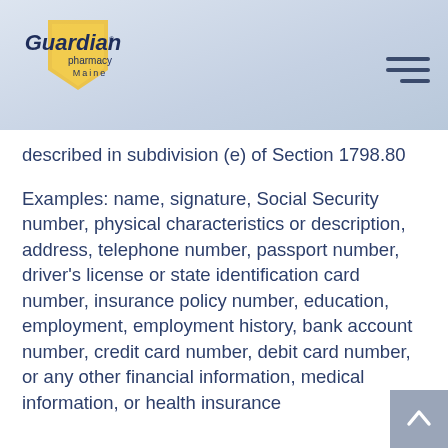[Figure (logo): Guardian Pharmacy Maine logo with golden shield and text]
described in subdivision (e) of Section 1798.80
Examples: name, signature, Social Security number, physical characteristics or description, address, telephone number, passport number, driver's license or state identification card number, insurance policy number, education, employment, employment history, bank account number, credit card number, debit card number, or any other financial information, medical information, or health insurance